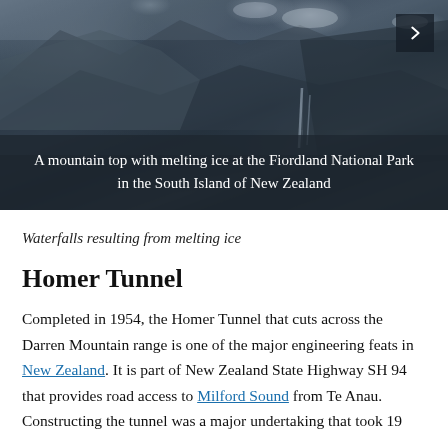[Figure (photo): A mountain top with melting ice at the Fiordland National Park in the South Island of New Zealand. Rocky mountain landscape with snow and ice, dark rocky cliffs, and waterfalls. A navigation arrow button is visible in the top right corner.]
A mountain top with melting ice at the Fiordland National Park in the South Island of New Zealand
Waterfalls resulting from melting ice
Homer Tunnel
Completed in 1954, the Homer Tunnel that cuts across the Darren Mountain range is one of the major engineering feats in New Zealand. It is part of New Zealand State Highway SH 94 that provides road access to Milford Sound from Te Anau. Constructing the tunnel was a major undertaking that took 19